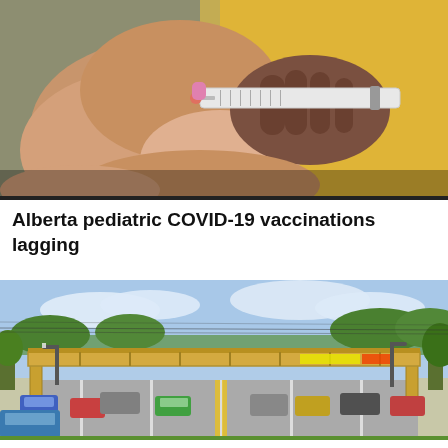[Figure (photo): Close-up photo of a person receiving a vaccine injection in the arm. A hand holds a syringe with a pink cap against the person's shoulder/upper arm. Background shows blurred yellow and blue colors.]
Alberta pediatric COVID-19 vaccinations lagging
[Figure (photo): Street-level photo of a busy multi-lane road with a yellow pedestrian overpass bridge crossing overhead. Trees line both sides of the road and multiple vehicles are visible in traffic. Blue sky with some clouds in the background.]